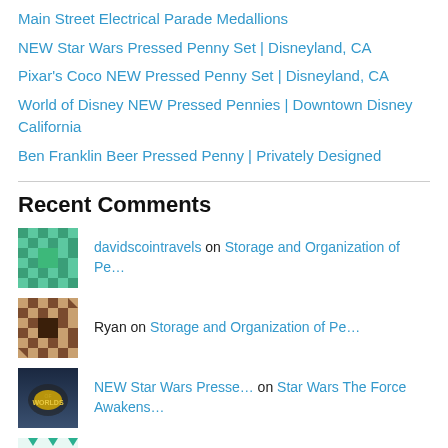Main Street Electrical Parade Medallions
NEW Star Wars Pressed Penny Set | Disneyland, CA
Pixar's Coco NEW Pressed Penny Set | Disneyland, CA
World of Disney NEW Pressed Pennies | Downtown Disney California
Ben Franklin Beer Pressed Penny | Privately Designed
Recent Comments
davidscointravels on Storage and Organization of Pe…
Ryan on Storage and Organization of Pe…
NEW Star Wars Presse… on Star Wars The Force Awakens…
Zizzy on 50th Anniversary Collectible M…
davidscointravels on 50th Anniversary Collectible M…